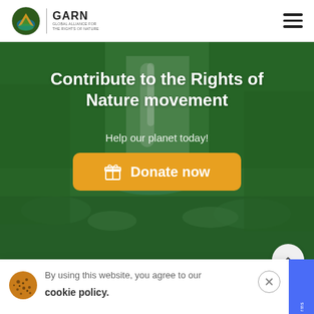GARN | GLOBAL ALLIANCE FOR THE RIGHTS OF NATURE
[Figure (screenshot): Hero banner with waterfall and lush green forest background, overlaid with green tint]
Contribute to the Rights of Nature movement
Help our planet today!
[Figure (illustration): Orange donate button with gift icon and text 'Donate now']
By using this website, you agree to our cookie policy.